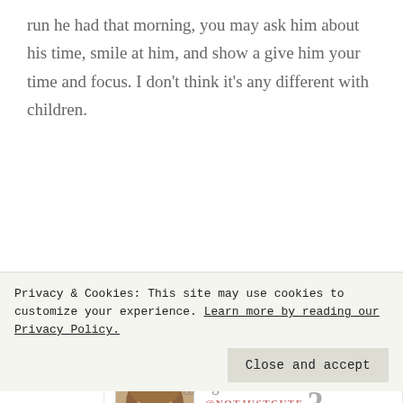run he had that morning, you may ask him about his time, smile at him, and show a give him your time and focus. I don't think it's any different with children.
Reply
[Figure (photo): Profile photo of a smiling woman with long brown hair]
AMANDA @NOTJUSTCUTE 2 says
Privacy & Cookies: This site may use cookies to customize your experience. Learn more by reading our Privacy Policy.
Close and accept
Good analogy. I get a lot of